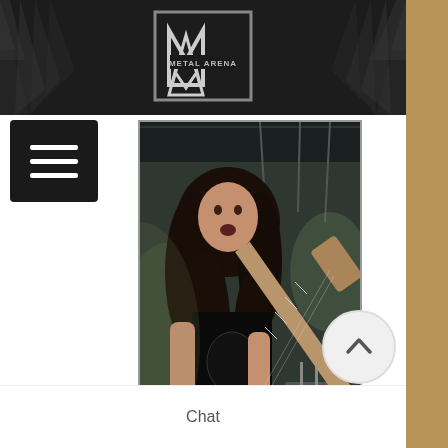[Figure (photo): Top banner with Metal Arena logo — dark background with metallic/spiky styling]
[Figure (photo): Guitarist with long curly hair playing an electric guitar on stage, wearing a black t-shirt, drums visible in background]
Allan "M-Slay" B.
Guitariste de THE SIDELINE H...S
Age: 26
DAYS E...
Chat